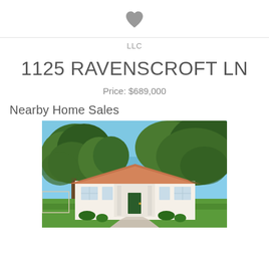[Figure (illustration): Gray filled heart icon centered at top of page]
LLC
1125 RAVENSCROFT LN
Price: $689,000
Nearby Home Sales
[Figure (photo): Exterior photo of a single-story Florida-style home with terracotta roof, large oak trees with green foliage, lush green lawn, circular driveway, and blue sky.]